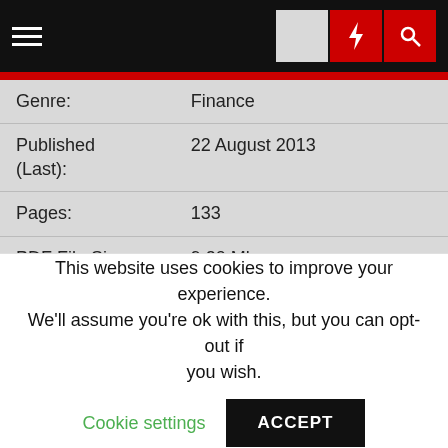Navigation bar with hamburger menu, dark/light mode icon, lightning bolt icon, and search icon
| Field | Value |
| --- | --- |
| Genre: | Finance |
| Published (Last): | 22 August 2013 |
| Pages: | 133 |
| PDF File Size: | 9.20 Mb |
| ePub File Size: | 6.27 Mb |
| ISBN: | 752-2-61932-331-9 |
| Downloads: | 90633 |
| Price: | Free* [*Free Regsitration Required] |
This website uses cookies to improve your experience. We'll assume you're ok with this, but you can opt-out if you wish. Cookie settings ACCEPT